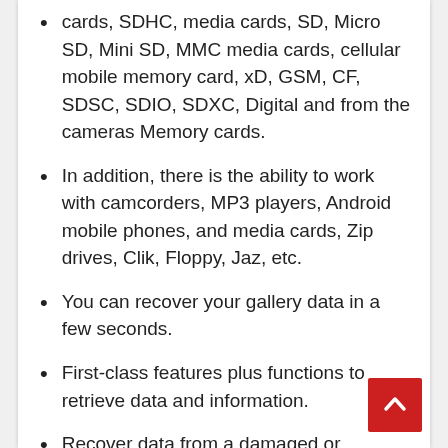cards, SDHC, media cards, SD, Micro SD, Mini SD, MMC media cards, cellular mobile memory card, xD, GSM, CF, SDSC, SDIO, SDXC, Digital and from the cameras Memory cards.
In addition, there is the ability to work with camcorders, MP3 players, Android mobile phones, and media cards, Zip drives, Clik, Floppy, Jaz, etc.
You can recover your gallery data in a few seconds.
First-class features plus functions to retrieve data and information.
Recover data from a damaged or corrupted hard drive.
Please read carefully and extract from open source.